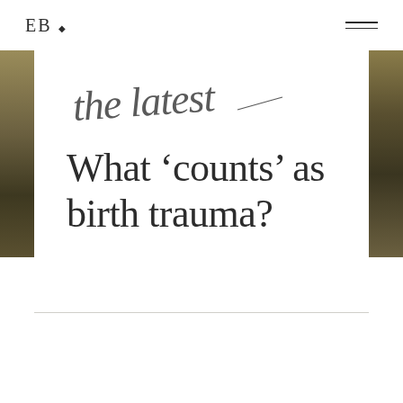EB •
[Figure (illustration): Script/handwritten style text reading 'the latest' in cursive italic]
What 'counts' as birth trauma?